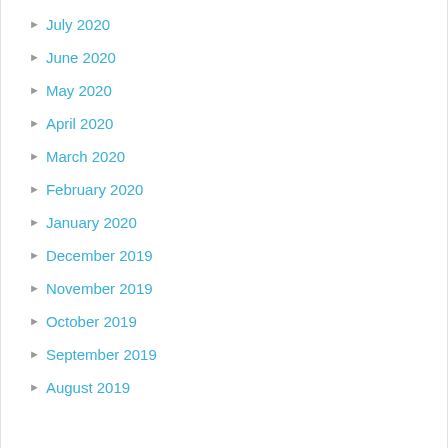July 2020
June 2020
May 2020
April 2020
March 2020
February 2020
January 2020
December 2019
November 2019
October 2019
September 2019
August 2019